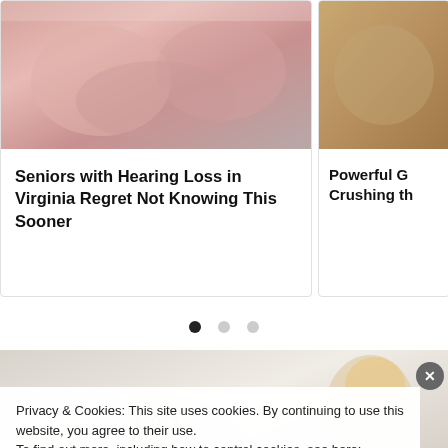[Figure (photo): Close-up photo of elderly person's hands/heels with skin condition, cropped on left card]
Seniors with Hearing Loss in Virginia Regret Not Knowing This Sooner
[Figure (photo): Partially visible right card with sandy/grainy texture photo and text 'Powerful G... Crushing th...']
[Figure (infographic): Carousel dot indicators: three dots, first filled black, two grey]
[Figure (photo): Photo of elderly man with glasses lying in bed and a young blonde woman caregiver behind him]
Privacy & Cookies: This site uses cookies. By continuing to use this website, you agree to their use.
To find out more, including how to control cookies, see here: Cookie Policy
Close and accept